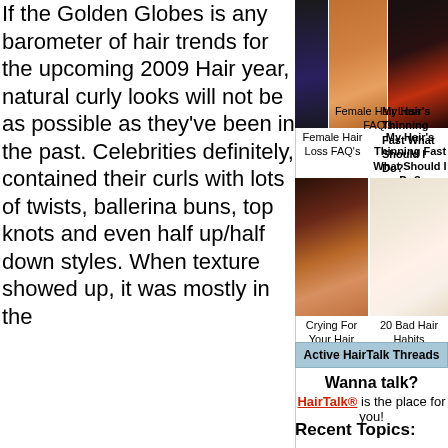[Figure (photo): Three photos across top: partial figure in dark outfit, woman with long auburn hair, woman with dark braided hair]
Female Hair Loss FAQ's
My Hair's Thinning Fast What Should I Do?
If the Golden Globes is any barometer of hair trends for the upcoming 2009 Hair year, natural curly looks will not be as possible as they've been in the past. Celebrities definitely, contained their curls with lots of twists, ballerina buns, to knots and even half up/half down styles. When texture showed up, it was mostly in the
[Figure (photo): Woman with layered wavy brown hair and bangs]
Crying For Your Hair
[Figure (photo): Woman with platinum blonde hair looking glamorous]
20 Bad Hair Habits
Active HairTalk Threads
Wanna talk?
HairTalk® is the place for you!
Recent Topics: